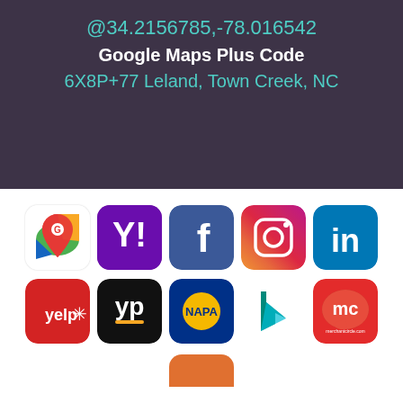@34.2156785,-78.016542
Google Maps Plus Code
6X8P+77 Leland, Town Creek, NC
[Figure (logo): Row of social/directory platform logos: Google Maps, Yahoo, Facebook, Instagram, LinkedIn]
[Figure (logo): Row of directory/service logos: Yelp, YP, NAPA, Bing, MerchantCircle]
[Figure (logo): Partial row with one partially visible orange logo at bottom]